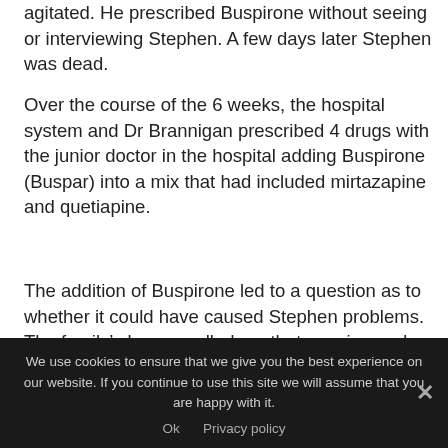agitated.  He prescribed Buspirone without seeing or interviewing Stephen.  A few days later Stephen was dead.
Over the course of the 6 weeks, the hospital system and Dr Brannigan prescribed 4 drugs with the junior doctor in the hospital adding Buspirone (Buspar) into a mix that had included mirtazapine and quetiapine.
The addition of Buspirone led to a question as to whether it could have caused Stephen problems.  The family's lawyer called me that evening and asked whether there was any evidence it could.  I prepared a Table of the hazards linked to 4 of the 5 different drugs Stephen had been given during this period and
We use cookies to ensure that we give you the best experience on our website. If you continue to use this site we will assume that you are happy with it.
Ok   Privacy policy